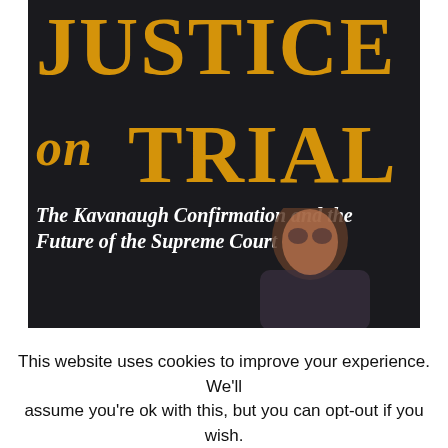[Figure (illustration): Book cover for 'Justice on Trial: The Kavanaugh Confirmation and the Future of the Supreme Court'. Dark background with large gold/orange bold text for the title, white italic subtitle text, and a photo of Brett Kavanaugh in the lower portion.]
This website uses cookies to improve your experience. We'll assume you're ok with this, but you can opt-out if you wish.
Accept   Read More